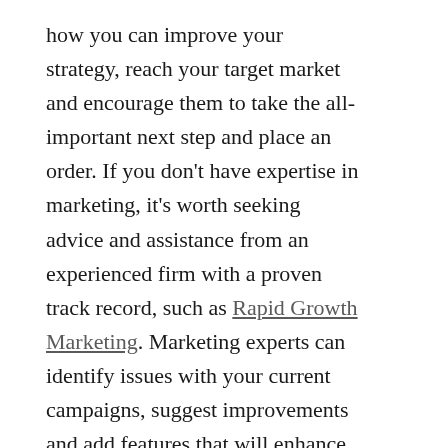how you can improve your strategy, reach your target market and encourage them to take the all-important next step and place an order. If you don't have expertise in marketing, it's worth seeking advice and assistance from an experienced firm with a proven track record, such as Rapid Growth Marketing. Marketing experts can identify issues with your current campaigns, suggest improvements and add features that will enhance your performance and deliver results. If you're falling short, you may be missing the mark when it comes to targeting the right consumers, or you might be relying on the wrong techniques and platforms.
Get people talking
Many businesses find it difficult to maintain the